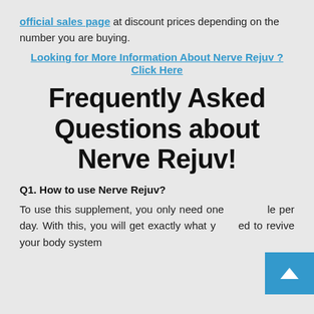official sales page at discount prices depending on the number you are buying.
Looking for More Information About Nerve Rejuv ? Click Here
Frequently Asked Questions about Nerve Rejuv!
Q1. How to use Nerve Rejuv?
To use this supplement, you only need one capsule per day. With this, you will get exactly what you need to revive your body system